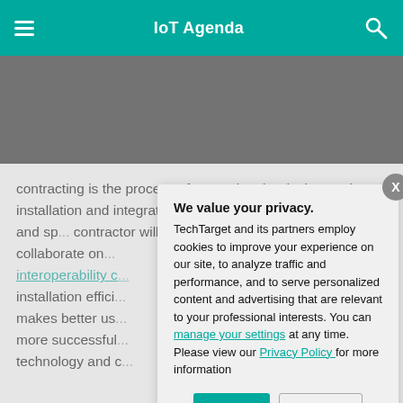IoT Agenda
contracting is the process of managing the design-assist, installation and integration of complex building, business and sp... contractor will in... and construction... to collaborate on... interoperability c... installation effici... makes better us... more successful... technology and c...
We value your privacy.
TechTarget and its partners employ cookies to improve your experience on our site, to analyze traffic and performance, and to serve personalized content and advertising that are relevant to your professional interests. You can manage your settings at any time. Please view our Privacy Policy for more information